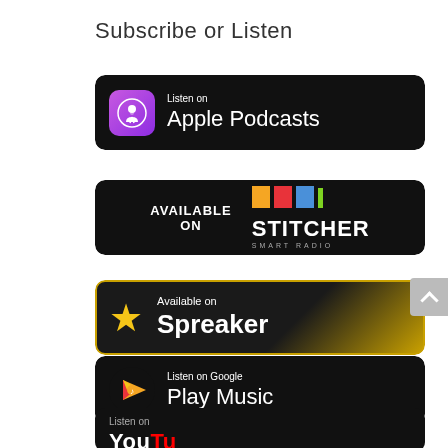Subscribe or Listen
[Figure (logo): Apple Podcasts badge - Listen on Apple Podcasts]
[Figure (logo): Stitcher Smart Radio badge - Available on Stitcher]
[Figure (logo): Spreaker badge - Available on Spreaker]
[Figure (logo): Google Play Music badge - Listen on Google Play Music]
[Figure (logo): YouTube badge - Listen on YouTube (partially visible)]